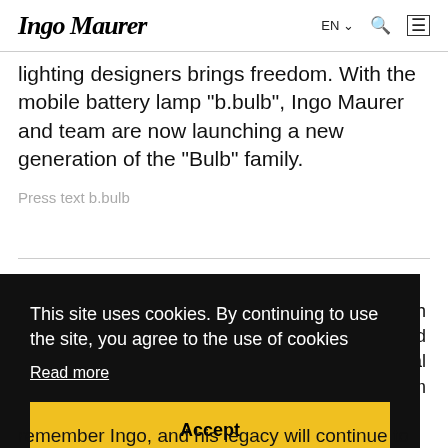Ingo Maurer | EN | search | menu
lighting designers brings freedom. With the mobile battery lamp "b.bulb", Ingo Maurer and team are now launching a new generation of the "Bulb" family.
Press text b.bulb
...munich ... and ...special ...m
This site uses cookies. By continuing to use the site, you agree to the use of cookies
Read more
Accept
remember Ingo, and his legacy will continue to inspire